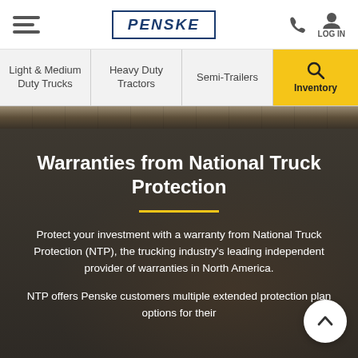PENSKE — navigation header with hamburger menu, phone icon, and LOG IN
Light & Medium Duty Trucks | Heavy Duty Tractors | Semi-Trailers | Inventory (search)
Warranties from National Truck Protection
Protect your investment with a warranty from National Truck Protection (NTP), the trucking industry's leading independent provider of warranties in North America.
NTP offers Penske customers multiple extended protection plan options for their